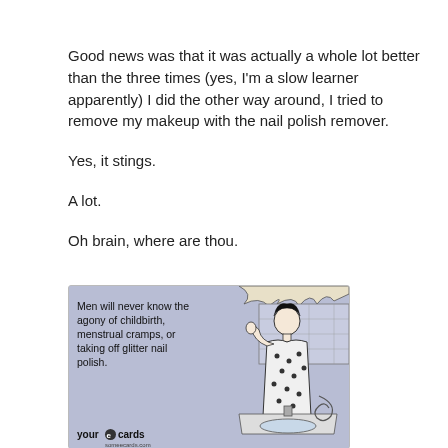Good news was that it was actually a whole lot better than the three times (yes, I'm a slow learner apparently) I did the other way around, I tried to remove my makeup with the nail polish remover.
Yes, it stings.
A lot.
Oh brain, where are thou.
[Figure (illustration): A humorous ecard image with a blue-grey background showing a vintage-style illustration of a woman in a polka-dot robe standing at a bathroom sink. Text reads: 'Men will never know the agony of childbirth, menstrual cramps, or taking off glitter nail polish.' with 'your e cards' logo at the bottom left.]